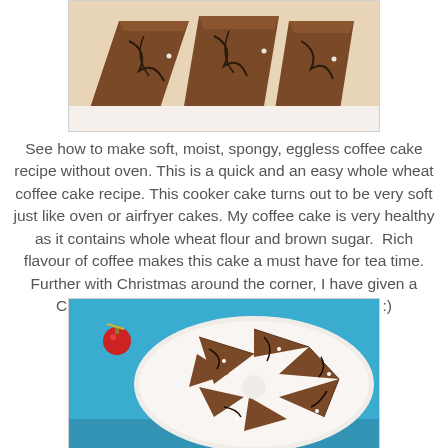[Figure (photo): Close-up photo of triangular slices of chocolate-drizzled coffee cake on a white surface]
See how to make soft, moist, spongy, eggless coffee cake recipe without oven. This is a quick and an easy whole wheat coffee cake recipe. This cooker cake turns out to be very soft just like oven or airfryer cakes. My coffee cake is very healthy as it contains whole wheat flour and brown sugar.  Rich flavour of coffee makes this cake a must have for tea time. Further with Christmas around the corner, I have given a Christmas tree look to the cake. So do try it out :)
[Figure (photo): Overhead photo of triangular slices of chocolate-drizzled coffee cake arranged on a white plate on a teal background, with a red Christmas ornament beside the plate]